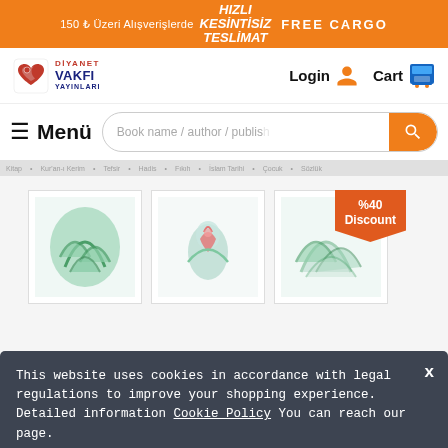150 ₺ Üzeri Alışverişlerde HIZLI KESİNTİSİZ TESLİMAT FREE CARGO
[Figure (logo): Diyanet Vakfı Yayınları logo with red heart/crescent icon]
Login
Cart
≡ Menü
Book name / author / publish
[Figure (illustration): Three book cover illustrations with leaf/floral designs in teal and muted colors]
%40 Discount
This website uses cookies in accordance with legal regulations to improve your shopping experience. Detailed information Cookie Policy You can reach our page.
OK